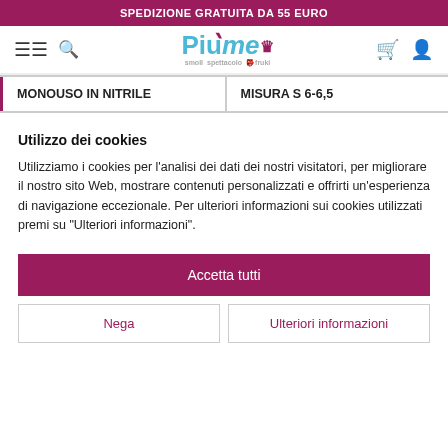SPEDIZIONE GRATUITA DA 55 EURO
[Figure (logo): PiùMe logo with crown, subbrands smoll, spettacolo, fruki]
| MONOUSO IN NITRILE | MISURA S 6-6,5 |
| --- | --- |
Utilizzo dei cookies
Utilizziamo i cookies per l'analisi dei dati dei nostri visitatori, per migliorare il nostro sito Web, mostrare contenuti personalizzati e offrirti un'esperienza di navigazione eccezionale. Per ulteriori informazioni sui cookies utilizzati premi su "Ulteriori informazioni".
Accetta tutti
Nega
Ulteriori informazioni